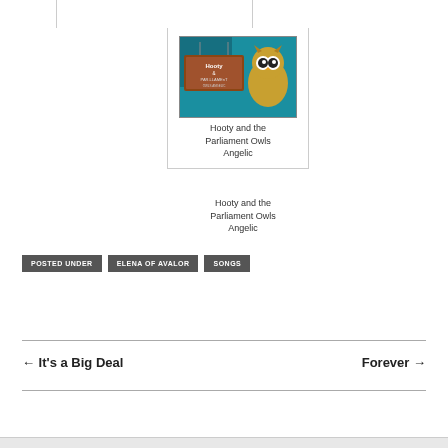[Figure (illustration): Album art for 'Hooty and the Parliament Owls - Angelic': cartoon owl on teal/blue background with wooden sign reading 'Hooty & the Parliament Owls']
Hooty and the Parliament Owls Angelic
POSTED UNDER  ELENA OF AVALOR  SONGS
← It's a Big Deal
Forever →